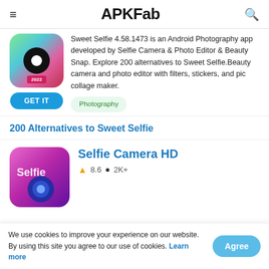APKFab
Sweet Selfie 4.58.1473 is an Android Photography app developed by Selfie Camera & Photo Editor & Beauty Snap. Explore 200 alternatives to Sweet Selfie.Beauty camera and photo editor with filters, stickers, and pic collage maker.
Photography
200 Alternatives to Sweet Selfie
Selfie Camera HD
We use cookies to improve your experience on our website. By using this site you agree to our use of cookies. Learn more